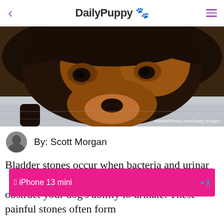DailyPuppy 🐾
[Figure (photo): Close-up photo of a German Shepherd dog looking down, showing face and eyes, brownish-black fur, light background. Credit: masterPhotos.com/Getty Images]
By: Scott Morgan
Bladder stones occur when bacteria and urinary minerals combine into crystals. They can obstruct your dog's ability to urinate. These painful stones often form after…